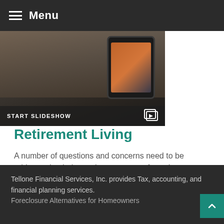Menu
[Figure (photo): Photo of a person using a tablet device, with a slideshow button overlay at the bottom reading START SLIDESHOW]
Retirement Living
A number of questions and concerns need to be addressed to help you better prepare for retirement living.
Tellone Financial Services, Inc. provides Tax, accounting, and financial planning services.
Foreclosure Alternatives for Homeowners